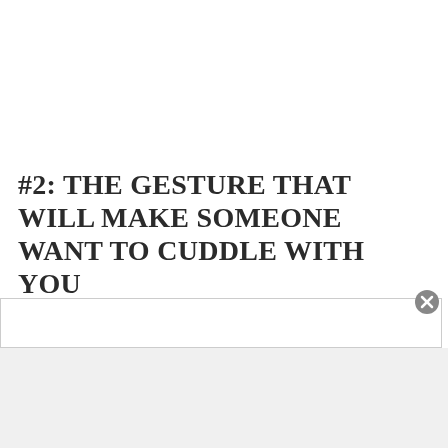#2: THE GESTURE THAT WILL MAKE SOMEONE WANT TO CUDDLE WITH YOU